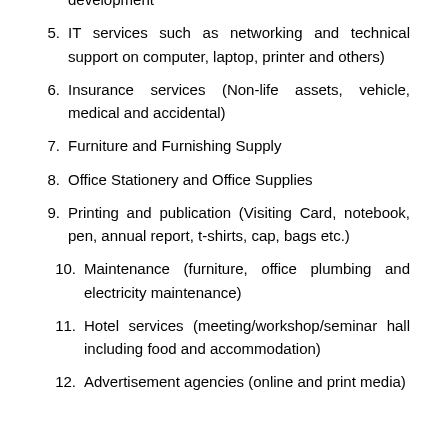development
5. IT services such as networking and technical support on computer, laptop, printer and others)
6. Insurance services (Non-life assets, vehicle, medical and accidental)
7. Furniture and Furnishing Supply
8. Office Stationery and Office Supplies
9. Printing and publication (Visiting Card, notebook, pen, annual report, t-shirts, cap, bags etc.)
10. Maintenance (furniture, office plumbing and electricity maintenance)
11. Hotel services (meeting/workshop/seminar hall including food and accommodation)
12. Advertisement agencies (online and print media)